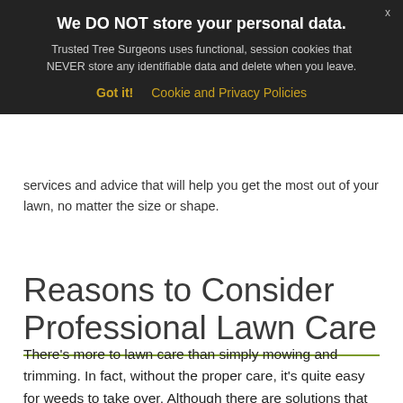services and advice that will help you get the most out of your lawn, no matter the size or shape.
Reasons to Consider Professional Lawn Care
There's more to lawn care than simply mowing and trimming. In fact, without the proper care, it's quite easy for weeds to take over. Although there are solutions that will kill weeds, these are often ineffective. What's more, if you purchase the wrong product, you may kill the grass, as well. Professional lawn care experts have the know-how and